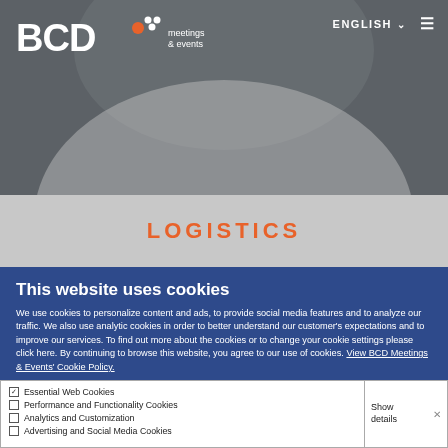[Figure (logo): BCD Meetings & Events logo with dots in white and orange on dark gray header background]
ENGLISH ≡
LOGISTICS
This website uses cookies
We use cookies to personalize content and ads, to provide social media features and to analyze our traffic. We also use analytic cookies in order to better understand our customer's expectations and to improve our services. To find out more about the cookies or to change your cookie settings please click here. By continuing to browse this website, you agree to our use of cookies. View BCD Meetings & Events' Cookie Policy.
| Cookie type | Action |
| --- | --- |
| Essential Web Cookies | Show details |
| Performance and Functionality Cookies |  |
| Analytics and Customization |  |
| Advertising and Social Media Cookies |  |